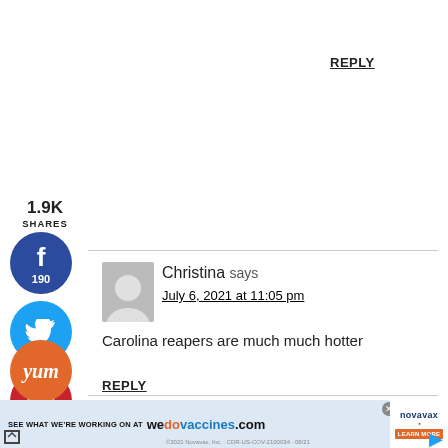REPLY
1.9K SHARES
[Figure (other): Facebook share button with count 190]
[Figure (other): Twitter share button]
[Figure (other): Pinterest share button with count 1.7K]
[Figure (other): Yummly share button]
[Figure (other): Gray avatar placeholder image]
Christina says
July 6, 2021 at 11:05 pm
Carolina reapers are much much hotter
REPLY
[Figure (screenshot): Novavax advertisement banner: SEE WHAT WE'RE WORKING ON AT wedovaccines.com with LEARN MORE button and Novavax logo]